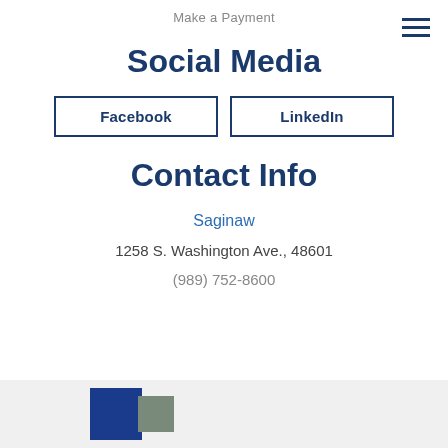Make a Payment
Social Media
Facebook
LinkedIn
Contact Info
Saginaw
1258 S. Washington Ave., 48601
(989) 752-8600
[Figure (logo): Company logo with blue square and gray triangle shape]